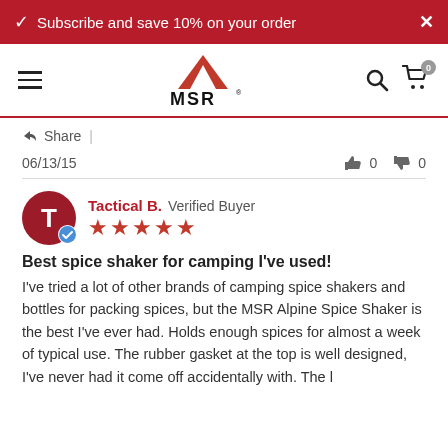Subscribe and save 10% on your order
[Figure (logo): MSR mountain logo with text MSR]
Share |
06/13/15   👍 0   👎 0
Tactical B. Verified Buyer ★★★★★
Best spice shaker for camping I've used!
I've tried a lot of other brands of camping spice shakers and bottles for packing spices, but the MSR Alpine Spice Shaker is the best I've ever had. Holds enough spices for almost a week of typical use. The rubber gasket at the top is well designed, I've never had it come off accidentally with. The l